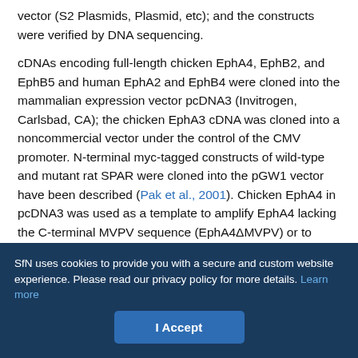vector (S2 Plasmids, Plasmid, etc); and the constructs were verified by DNA sequencing.
cDNAs encoding full-length chicken EphA4, EphB2, and EphB5 and human EphA2 and EphB4 were cloned into the mammalian expression vector pcDNA3 (Invitrogen, Carlsbad, CA); the chicken EphA3 cDNA was cloned into a noncommercial vector under the control of the CMV promoter. N-terminal myc-tagged constructs of wild-type and mutant rat SPAR were cloned into the pGW1 vector have been described (Pak et al., 2001). Chicken EphA4 in pcDNA3 was used as a template to amplify EphA4 lacking the C-terminal MVPV sequence (EphA4ΔMVPV) or to generate the kinase-dead EphA4K653R construct. Mouse Rap2A was cloned from an EST clone into pcDNA3 fused to an N-terminal myc tag. The Rap2 S17N
SfN uses cookies to provide you with a secure and custom website experience. Please read our privacy policy for more details. Learn more